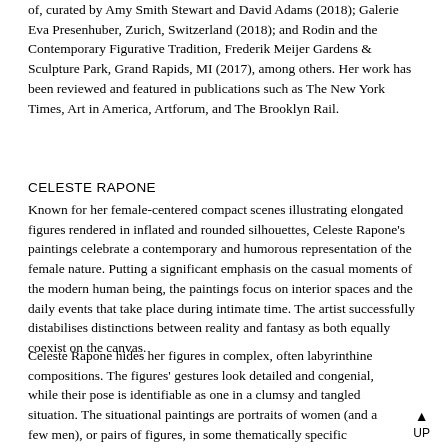of, curated by Amy Smith Stewart and David Adams (2018); Galerie Eva Presenhuber, Zurich, Switzerland (2018); and Rodin and the Contemporary Figurative Tradition, Frederik Meijer Gardens & Sculpture Park, Grand Rapids, MI (2017), among others. Her work has been reviewed and featured in publications such as The New York Times, Art in America, Artforum, and The Brooklyn Rail.
CELESTE RAPONE
Known for her female-centered compact scenes illustrating elongated figures rendered in inflated and rounded silhouettes, Celeste Rapone's paintings celebrate a contemporary and humorous representation of the female nature. Putting a significant emphasis on the casual moments of the modern human being, the paintings focus on interior spaces and the daily events that take place during intimate time. The artist successfully distabilises distinctions between reality and fantasy as both equally coexist on the canvas.
Celeste Rapone hides her figures in complex, often labyrinthine compositions. The figures' gestures look detailed and congenial, while their pose is identifiable as one in a clumsy and tangled situation. The situational paintings are portraits of women (and a few men), or pairs of figures, in some thematically specific context drawn